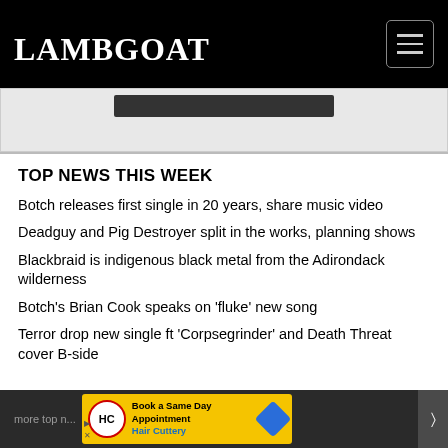Lambgoat
[Figure (other): Banner advertisement area with dark/dark inner bar]
TOP NEWS THIS WEEK
Botch releases first single in 20 years, share music video
Deadguy and Pig Destroyer split in the works, planning shows
Blackbraid is indigenous black metal from the Adirondack wilderness
Botch's Brian Cook speaks on 'fluke' new song
Terror drop new single ft 'Corpsegrinder' and Death Threat cover B-side
more top news | Book a Same Day Appointment — Hair Cuttery